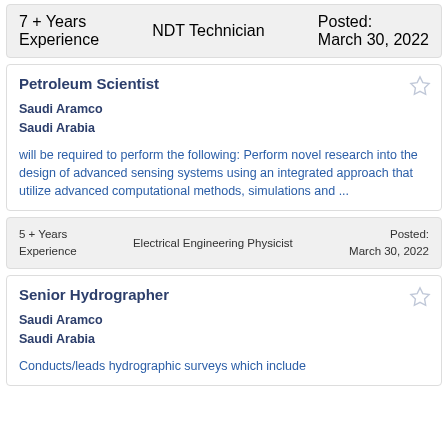7 + Years Experience | NDT Technician | Posted: March 30, 2022
Petroleum Scientist
Saudi Aramco
Saudi Arabia
will be required to perform the following: Perform novel research into the design of advanced sensing systems using an integrated approach that utilize advanced computational methods, simulations and ...
5 + Years Experience | Electrical Engineering Physicist | Posted: March 30, 2022
Senior Hydrographer
Saudi Aramco
Saudi Arabia
Conducts/leads hydrographic surveys which include